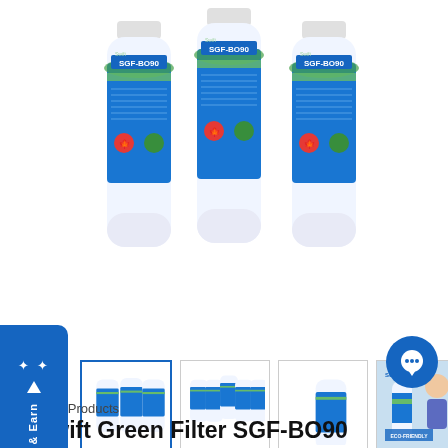[Figure (photo): Three Swift Green SGF-BO90 water filter cartridges arranged overlapping, with blue/white/green labels showing 'SGF-BO90' text and Canadian maple leaf icons. White cylindrical filter bodies.]
[Figure (photo): Thumbnail 1: Three SGF-BO90 water filters (3-pack view)]
[Figure (photo): Thumbnail 2: Five or six SGF-BO90 water filters (multi-pack view)]
[Figure (photo): Thumbnail 3: Single SGF-BO90 water filter]
[Figure (photo): Thumbnail 4: Swift product lifestyle/marketing image with woman and 'ECO-FRIENDLY' text]
Swift Products
Swift Green Filter SGF-BO90